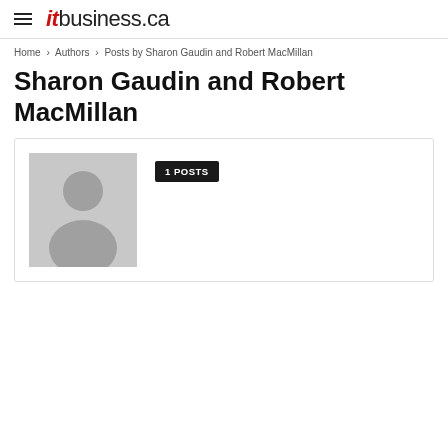itbusiness.ca
Home › Authors › Posts by Sharon Gaudin and Robert MacMillan
Sharon Gaudin and Robert MacMillan
[Figure (illustration): Author profile card with default grey silhouette avatar placeholder image and a black badge reading '1 POSTS']